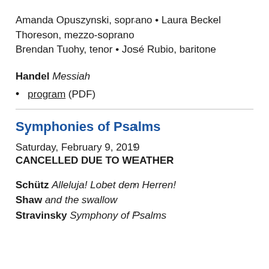Amanda Opuszynski, soprano • Laura Beckel Thoreson, mezzo-soprano
Brendan Tuohy, tenor • José Rubio, baritone
Handel Messiah
program (PDF)
Symphonies of Psalms
Saturday, February 9, 2019
CANCELLED DUE TO WEATHER
Schütz Alleluja! Lobet dem Herren!
Shaw and the swallow
Stravinsky Symphony of Psalms